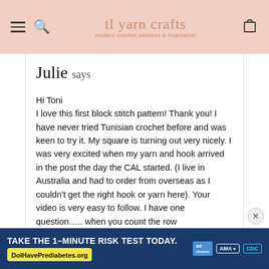tl yarn crafts — modern crochet patterns & inspiration
Julie says
Hi Toni
I love this first block stitch pattern! Thank you! I have never tried Tunisian crochet before and was keen to try it. My square is turning out very nicely. I was very excited when my yarn and hook arrived in the post the day the CAL started. (I live in Australia and had to order from overseas as I couldn't get the right hook or yarn here). Your video is very easy to follow. I have one question….. when you count the row
[Figure (screenshot): Advertisement banner: TAKE THE 1-MINUTE RISK TEST TODAY. DoIHavePrediabetes.org with ad, AMA, and CDC logos]